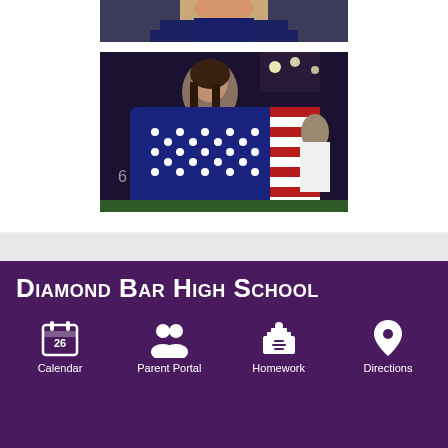[Figure (photo): Top portion of a photo showing a female athlete in a dark navy uniform with long hair]
[Figure (photo): Female soccer player wrapped in a large American flag (stars and stripes) celebrating at night in a stadium, another player holding an American flag visible in the background]
Diamond Bar High School
Calendar
Parent Portal
Homework
Directions